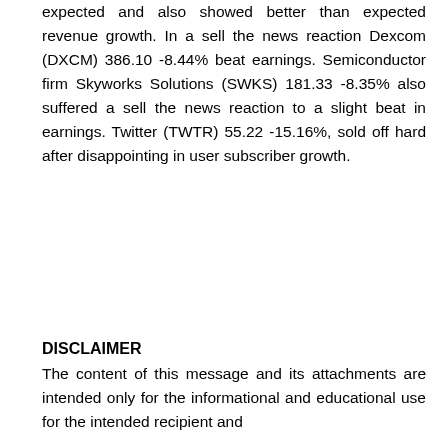expected and also showed better than expected revenue growth. In a sell the news reaction Dexcom (DXCM) 386.10 -8.44% beat earnings. Semiconductor firm Skyworks Solutions (SWKS) 181.33 -8.35% also suffered a sell the news reaction to a slight beat in earnings. Twitter (TWTR) 55.22 -15.16%, sold off hard after disappointing in user subscriber growth.
DISCLAIMER
The content of this message and its attachments are intended only for the informational and educational use for the intended recipient and